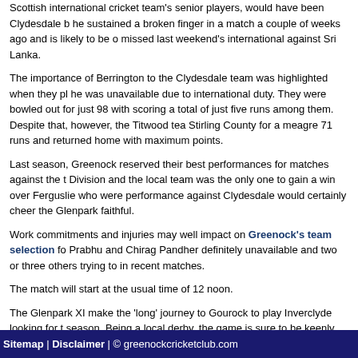Scottish international cricket team's senior players, would have been Clydesdale b he sustained a broken finger in a match a couple of weeks ago and is likely to be o missed last weekend's international against Sri Lanka.
The importance of Berrington to the Clydesdale team was highlighted when they pl he was unavailable due to international duty. They were bowled out for just 98 with scoring a total of just five runs among them. Despite that, however, the Titwood tea Stirling County for a meagre 71 runs and returned home with maximum points.
Last season, Greenock reserved their best performances for matches against the t Division and the local team was the only one to gain a win over Ferguslie who were performance against Clydesdale would certainly cheer the Glenpark faithful.
Work commitments and injuries may well impact on Greenock's team selection fo Prabhu and Chirag Pandher definitely unavailable and two or three others trying to in recent matches.
The match will start at the usual time of 12 noon.
The Glenpark XI make the 'long' journey to Gourock to play Inverclyde looking for t season. Being a local derby, the game is sure to be keenly contested. Their curren be affected by how many players pull out of the 1st XI due to injury.
Greenock Cricket Club is sponsored this season by Cleaning Supplies 4U.
Sitemap | Disclaimer | © greenockcricketclub.com